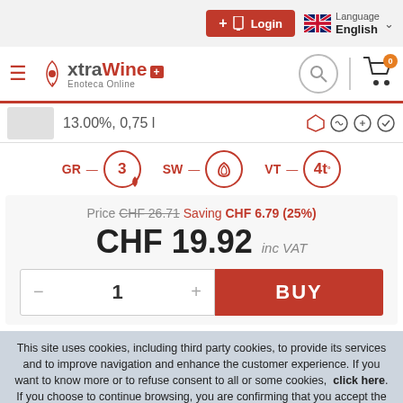Login | Language English
xtraWine Enoteca Online
13.00%, 0,75 l
GR 3  SW  VT 4t
Price CHF 26.71 Saving CHF 6.79 (25%)
CHF 19.92 inc VAT
1  BUY
This site uses cookies, including third party cookies, to provide its services and to improve navigation and enhance the customer experience. If you want to know more or to refuse consent to all or some cookies, click here. If you choose to continue browsing, you are confirming that you accept the use of cookies. Ok